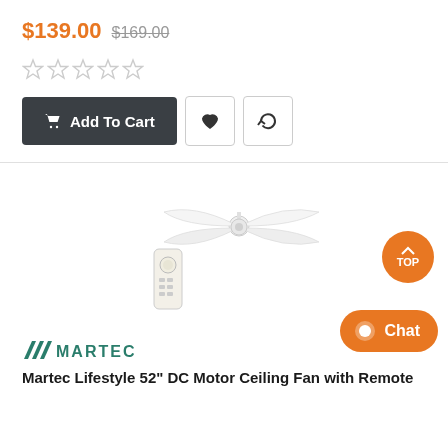$139.00  $169.00
[Figure (other): Five empty star rating icons in a row]
[Figure (other): Add To Cart button (dark grey), heart icon button, refresh/compare icon button]
[Figure (photo): White ceiling fan with 4 blades and a remote control, product photo on white background]
[Figure (logo): Martec brand logo with three diagonal lines followed by MARTEC text in teal/dark cyan]
Martec Lifestyle 52" DC Motor Ceiling Fan with Remote